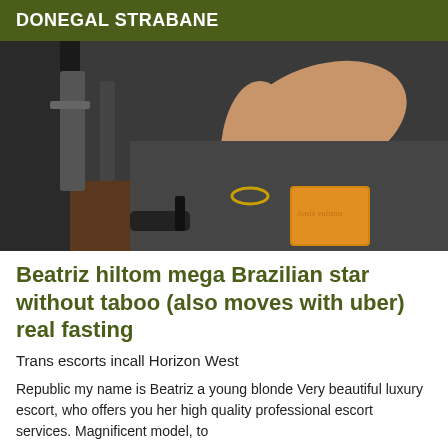DONEGAL STRABANE
[Figure (photo): Photo showing legs and feet of a person on a dark floor, with a Louis Vuitton bag and high heel shoes visible.]
Beatriz hiltom mega Brazilian star without taboo (also moves with uber) real fasting
Trans escorts incall Horizon West
Republic my name is Beatriz a young blonde Very beautiful luxury escort, who offers you her high quality professional escort services. Magnificent model, to